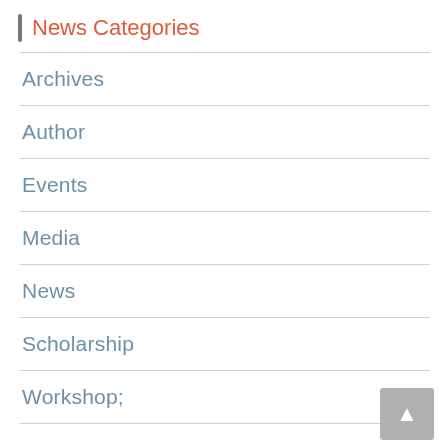News Categories
Archives
Author
Events
Media
News
Scholarship
Workshop;
Our Writing Contests…
Unknown Writers Contest